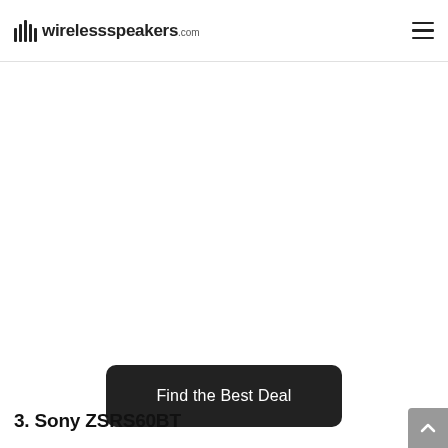wirelessspeakers.com
[Figure (other): Large blank white content area, likely where a product image was located]
Find the Best Deal
3. Sony ZSRS60BT